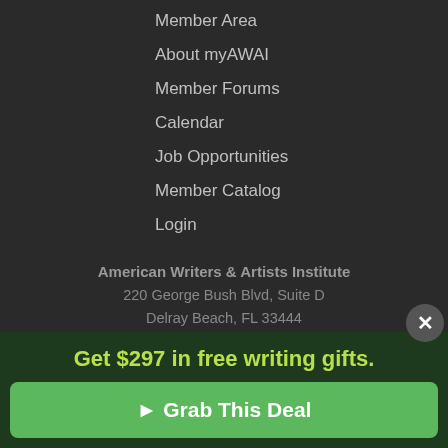Member Area
About myAWAI
Member Forums
Calendar
Job Opportunities
Member Catalog
Login
American Writers & Artists Institute
220 George Bush Blvd, Suite D
Delray Beach, FL 33444
(561) 278-5557 or (866) 879-2924
[Figure (logo): BBB Accredited Business badge and TrustedSite Certified Secure badge]
Get $297 in free writing gifts.
▶ Grab This Deal